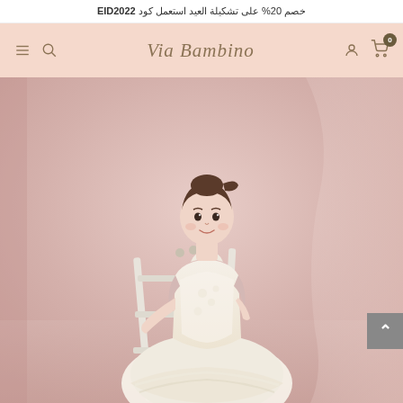خصم 20% على تشكيلة العيد استعمل كود EID2022
[Figure (screenshot): Via Bambino children's clothing e-commerce website navigation bar with hamburger menu, search icon, script logo, user icon, and cart with 0 items, on a peach/salmon background]
[Figure (photo): A young girl approximately 4-6 years old with brown hair pulled back, wearing a white/cream lace and tulle formal dress, standing next to a white wooden step ladder against a soft pink backdrop with sheer curtains]